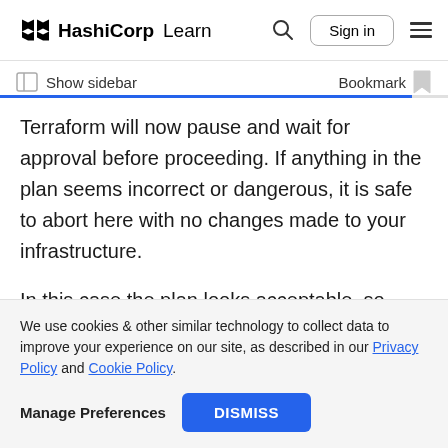HashiCorp Learn  [search] [Sign in] [menu]
Show sidebar    Bookmark
Terraform will now pause and wait for approval before proceeding. If anything in the plan seems incorrect or dangerous, it is safe to abort here with no changes made to your infrastructure.
In this case the plan looks acceptable, so type yes at the confirmation prompt to proceed. It may
We use cookies & other similar technology to collect data to improve your experience on our site, as described in our Privacy Policy and Cookie Policy.
Manage Preferences   DISMISS